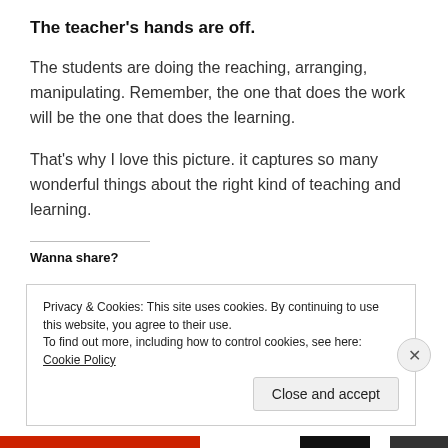The teacher's hands are off.
The students are doing the reaching, arranging, manipulating. Remember, the one that does the work will be the one that does the learning.
That’s why I love this picture. it captures so many wonderful things about the right kind of teaching and learning.
Wanna share?
Privacy & Cookies: This site uses cookies. By continuing to use this website, you agree to their use.
To find out more, including how to control cookies, see here: Cookie Policy